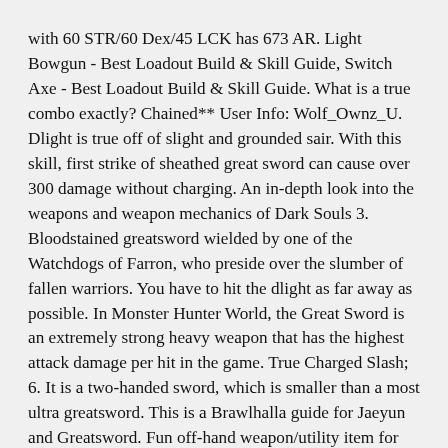with 60 STR/60 Dex/45 LCK has 673 AR. Light Bowgun - Best Loadout Build & Skill Guide, Switch Axe - Best Loadout Build & Skill Guide. What is a true combo exactly? Chained** User Info: Wolf_Ownz_U. Dlight is true off of slight and grounded sair. With this skill, first strike of sheathed great sword can cause over 300 damage without charging. An in-depth look into the weapons and weapon mechanics of Dark Souls 3. Bloodstained greatsword wielded by one of the Watchdogs of Farron, who preside over the slumber of fallen warriors. You have to hit the dlight as far away as possible. In Monster Hunter World, the Great Sword is an extremely strong heavy weapon that has the highest attack damage per hit in the game. True Charged Slash; 6. It is a two-handed sword, which is smaller than a most ultra greatsword. This is a Brawlhalla guide for Jaeyun and Greatsword. Fun off-hand weapon/utility item for DEX builds. That includes 2H GH R1s and GA R1s, but not UGS R1s or BKGA 1HR1s. Use the Great Sword's guard only when you cannot dodge and just be careful as this can consume a lot of weapon sharpness. Anonymous. By